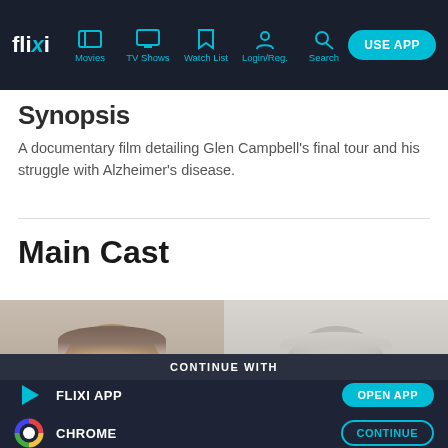flixi — Movies | TV Shows | Watch List | Login/Reg. | Search | USE APP
Synopsis
A documentary film detailing Glen Campbell's final tour and his struggle with Alzheimer's disease.
Main Cast
[Figure (photo): Two partially visible headshots of cast members, cropped at forehead level]
CONTINUE WITH
FLIXI APP — OPEN APP
CHROME — CONTINUE